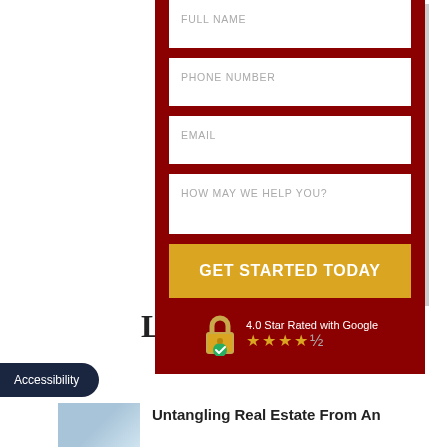[Figure (screenshot): Contact form with dark red background, fields for Full Name, Phone Number, Email, How May We Help You, a yellow GET STARTED TODAY button, and a 4.0 Star Rated with Google badge with padlock icon]
FULL NAME
PHONE NUMBER
EMAIL
HOW MAY WE HELP YOU?
GET STARTED TODAY
4.0 Star Rated with Google ★★★★☆
Latest News
Accessibility
Untangling Real Estate From An